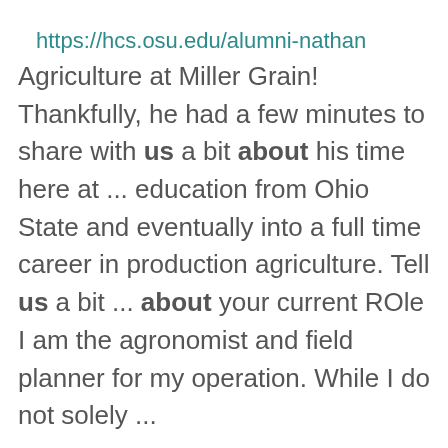https://hcs.osu.edu/alumni-nathan
Agriculture at Miller Grain! Thankfully, he had a few minutes to share with us a bit about his time here at ... education from Ohio State and eventually into a full time career in production agriculture. Tell us a bit ... about your current ROle I am the agronomist and field planner for my operation. While I do not solely ...
Master Brewers President Andy Tveekrem talks about winter barley and research done by Eric Stockinger